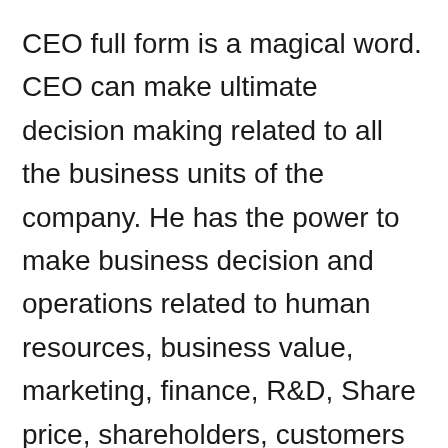CEO full form is a magical word. CEO can make ultimate decision making related to all the business units of the company. He has the power to make business decision and operations related to human resources, business value, marketing, finance, R&D, Share price, shareholders, customers etc.